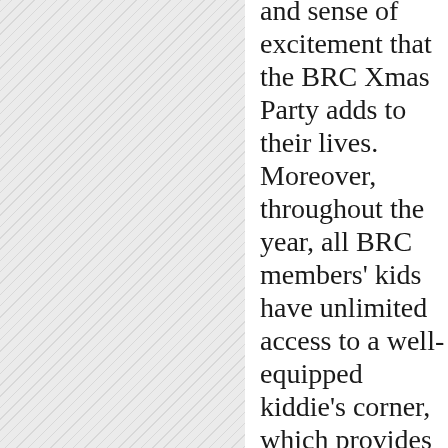[Figure (photo): Left portion of the page showing a hatched/diagonally striped image area, partially visible]
and sense of excitement that the BRC Xmas Party adds to their lives. Moreover, throughout the year, all BRC members' kids have unlimited access to a well-equipped kiddie's corner, which provides them with entertaining